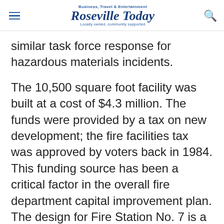Business, Travel & Entertainment Roseville Today Locally owned, community supported
similar task force response for hazardous materials incidents.
The 10,500 square foot facility was built at a cost of $4.3 million. The funds were provided by a tax on new development; the fire facilities tax was approved by voters back in 1984. This funding source has been a critical factor in the overall fire department capital improvement plan. The design for Fire Station No. 7 is a prototype for future fire stations, a cost saving measure aimed at reducing fire station